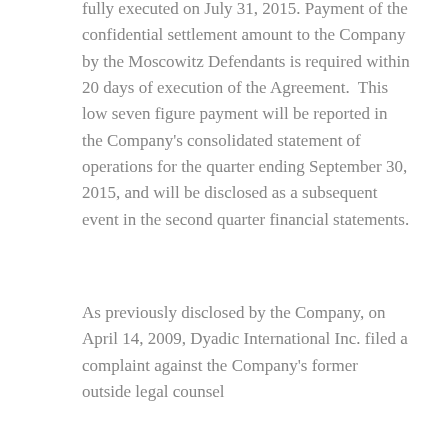fully executed on July 31, 2015. Payment of the confidential settlement amount to the Company by the Moscowitz Defendants is required within 20 days of execution of the Agreement.  This low seven figure payment will be reported in the Company's consolidated statement of operations for the quarter ending September 30, 2015, and will be disclosed as a subsequent event in the second quarter financial statements.
As previously disclosed by the Company, on April 14, 2009, Dyadic International Inc. filed a complaint against the Company's former outside legal counsel